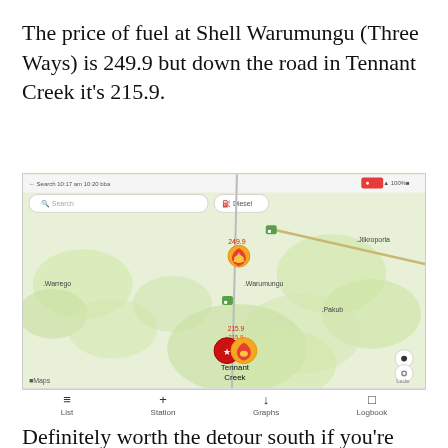The price of fuel at Shell Warumungu (Three Ways) is 249.9 but down the road in Tennant Creek it's 215.9.
[Figure (map): Map screenshot from a fuel price app showing northern Australia. A Shell station marker labeled 249.9 is visible at Warumungu (Three Ways), and fuel station markers labeled 215.9 are visible at Tennant Creek further south. The map shows roads, place names (Warrego, Warumungu, Pakub, Jilkroporla), and a green toolbar at top with Search and Diesel filter options. Navigation icons visible at bottom right.]
Definitely worth the detour south if you're planning a big fill up.